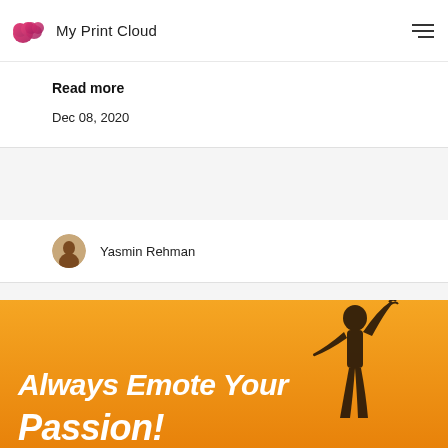My Print Cloud
Read more
Dec 08, 2020
Yasmin Rehman
[Figure (illustration): Orange promotional banner with silhouette of a person with arms raised. Text reads: Always Emote Your Passion!]